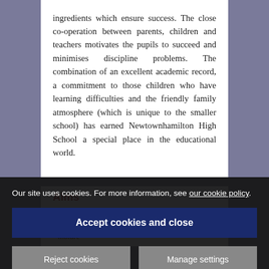ingredients which ensure success. The close co-operation between parents, children and teachers motivates the pupils to succeed and minimises discipline problems. The combination of an excellent academic record, a commitment to those children who have learning difficulties and the friendly family atmosphere (which is unique to the smaller school) has earned Newtownhamilton High School a special place in the educational world.
Aims
Wit... the sch...
...m... ...ere pupils are prepared to become mature
Our site uses cookies. For more information, see our cookie policy.
Accept cookies and close
Reject cookies
Manage settings